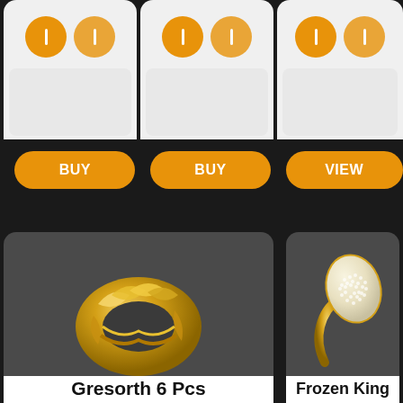[Figure (screenshot): Top portion of three product cards showing icon pairs on light gray rounded card backgrounds]
[Figure (screenshot): Three orange BUY/VIEW buttons in a row on dark background]
[Figure (photo): Gold braided/leaf ring product photo on dark card background]
[Figure (photo): Gold snake/teardrop ring with pavé diamonds product photo on dark card background]
Gresorth 6 Pcs
Frozen King